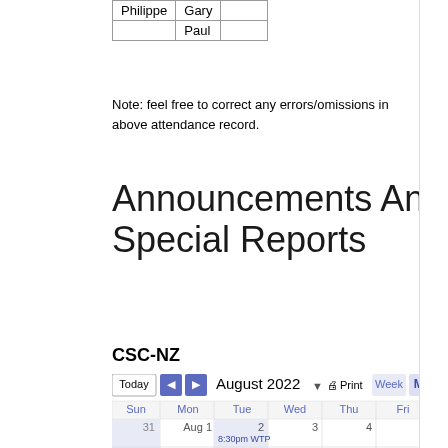| Philippe | Gary |  |
| --- | --- | --- |
|  | Paul |  |
Note: feel free to correct any errors/omissions in above attendance record.
Announcements And Special Reports
CSC-NZ
[Figure (screenshot): Google Calendar showing August 2022 monthly view with navigation controls (Today, back/forward arrows, August 2022 dropdown, Print, Week, Month buttons) and calendar grid showing days Sun-Fri with dates 31, Aug 1-4, 7-11, 14-18 visible. Tuesday Aug 2 has event '8:30pm WTP'.]